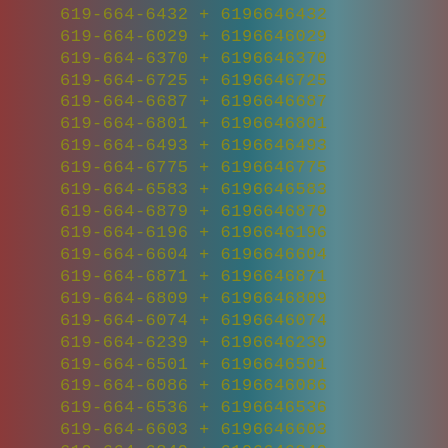619-664-6432 + 6196646432
619-664-6029 + 6196646029
619-664-6370 + 6196646370
619-664-6725 + 6196646725
619-664-6687 + 6196646687
619-664-6801 + 6196646801
619-664-6493 + 6196646493
619-664-6775 + 6196646775
619-664-6583 + 6196646583
619-664-6879 + 6196646879
619-664-6196 + 6196646196
619-664-6604 + 6196646604
619-664-6871 + 6196646871
619-664-6809 + 6196646809
619-664-6074 + 6196646074
619-664-6239 + 6196646239
619-664-6501 + 6196646501
619-664-6086 + 6196646086
619-664-6536 + 6196646536
619-664-6603 + 6196646603
619-664-6849 + 6196646849
619-664-6577 + 6196646577
619-664-6530 + 6196646530